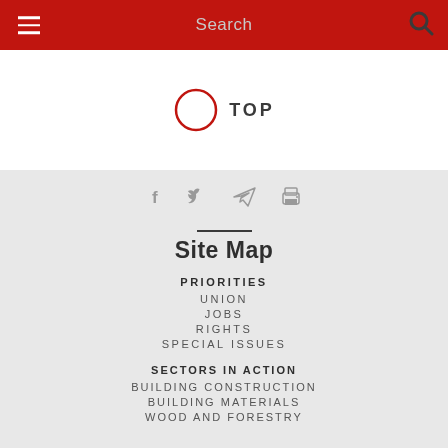Search
[Figure (other): TOP button with red circle outline icon and text 'TOP']
[Figure (other): Social share icons: Facebook (f), Twitter bird, Telegram arrow, Printer]
Site Map
PRIORITIES
UNION
JOBS
RIGHTS
SPECIAL ISSUES
SECTORS IN ACTION
BUILDING CONSTRUCTION
BUILDING MATERIALS
WOOD AND FORESTRY